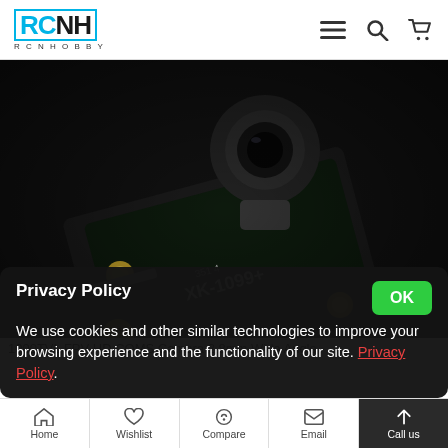RCNHOBBY logo with navigation icons (hamburger menu, search, cart)
[Figure (photo): Close-up photo of a black PCB camera module labeled XK-1099+ with gold solder points and a lens on top, on dark background]
1000TVL FPV HD COMS Camera 2.8mm Wide Angle
Privacy Policy
We use cookies and other similar technologies to improve your browsing experience and the functionality of our site. Privacy Policy.
Home | Wishlist | Compare | Email | Call us